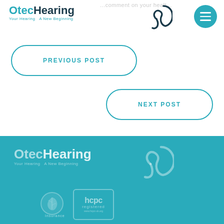[Figure (logo): OtecHearing logo with ear icon at top left, teal and dark text, tagline 'Your Hearing A New Beginning']
[Figure (other): Teal circular menu/hamburger button at top right]
PREVIOUS POST
NEXT POST
[Figure (logo): OtecHearing logo repeated in footer teal section, white semi-transparent text]
[Figure (other): Green leaf/insurance badge icon in footer]
[Figure (other): HCPC registered badge in footer]
Insurance
www.hcpc-uk.org